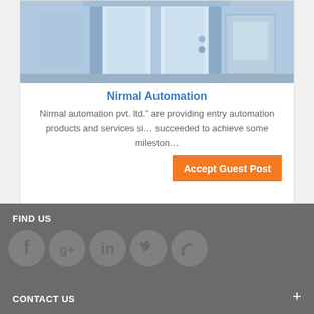[Figure (photo): Industrial automation doors/gates in a facility, blue-toned image]
Nirmal Automation
Nirmal automation pvt. ltd." are providing entry automation products and services sin... succeeded to achieve some mileston...
Accept Guest Post
FIND US
[Figure (infographic): Social media icons: Facebook, Google+, LinkedIn, Twitter, RSS feed]
CONTACT US